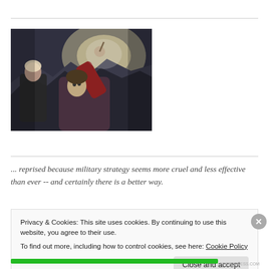[Figure (photo): Movie poster/scene showing two characters, one in dark clothing and one raising their arm upward, against a dramatic mountain and sky background, in dark blue-gray tones.]
... reprised because military strategy seems more cruel and less effective than ever -- and certainly there is a better way.
Privacy & Cookies: This site uses cookies. By continuing to use this website, you agree to their use.
To find out more, including how to control cookies, see here: Cookie Policy
Close and accept